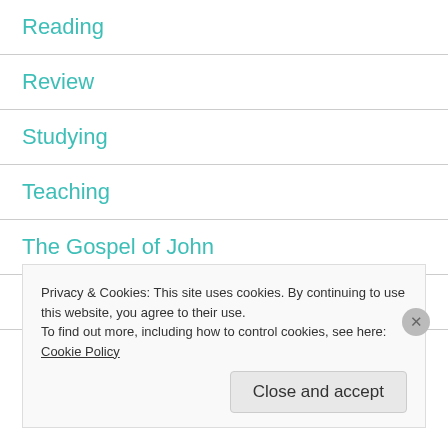Reading
Review
Studying
Teaching
The Gospel of John
Thoughts
Privacy & Cookies: This site uses cookies. By continuing to use this website, you agree to their use.
To find out more, including how to control cookies, see here: Cookie Policy
Close and accept